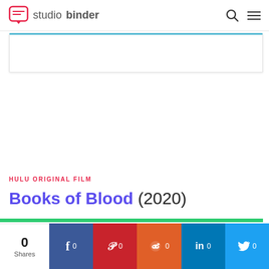studiobinder
[Figure (screenshot): Search box area with blue top border]
HULU ORIGINAL FILM
Books of Blood (2020)
[Figure (infographic): Social share bar with 0 shares: Facebook 0, Pinterest 0, Reddit 0, LinkedIn 0, Twitter 0]